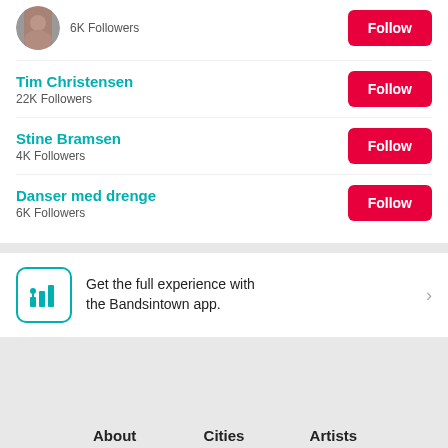6K Followers — Follow
Tim Christensen — 22K Followers — Follow
Stine Bramsen — 4K Followers — Follow
Danser med drenge — 6K Followers — Follow
Get the full experience with the Bandsintown app.
About  Cities  Artists  Impact  Charts  Help